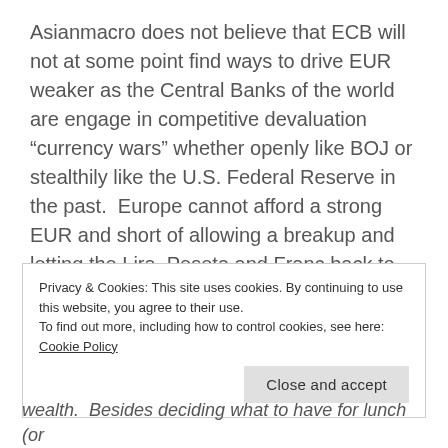Asianmacro does not believe that ECB will not at some point find ways to drive EUR weaker as the Central Banks of the world are engage in competitive devaluation “currency wars” whether openly like BOJ or stealthily like the U.S. Federal Reserve in the past.  Europe cannot afford a strong EUR and short of allowing a breakup and letting the Lira, Peseta and Franc back to the realm, the EUR needs to be weak again to give the mix bag of countries in EU any chance of staying together.
Privacy & Cookies: This site uses cookies. By continuing to use this website, you agree to their use.
To find out more, including how to control cookies, see here: Cookie Policy
Close and accept
wealth.  Besides deciding what to have for lunch (or